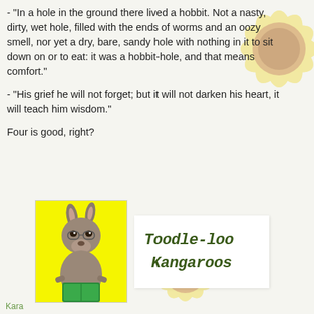- "In a hole in the ground there lived a hobbit. Not a nasty, dirty, wet hole, filled with the ends of worms and an oozy smell, nor yet a dry, bare, sandy hole with nothing in it to sit down on or to eat: it was a hobbit-hole, and that means comfort."
- "His grief he will not forget; but it will not darken his heart, it will teach him wisdom."
Four is good, right?
[Figure (illustration): A kangaroo wearing glasses and reading a green book, set against a yellow background, alongside a handwritten-style card reading 'Toodle-loo Kangaroos']
Kara